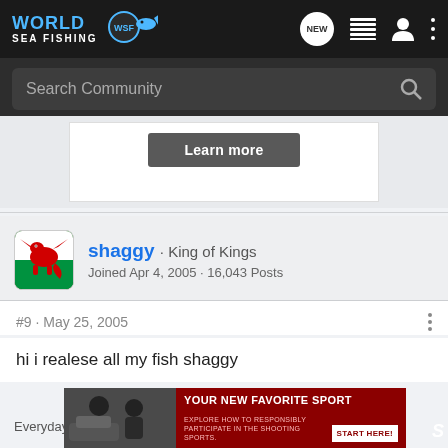World Sea Fishing (WSF) — navigation bar with logo, NEW button, list icon, user icon, more icon
Search Community
Learn more
shaggy · King of Kings
Joined Apr 4, 2005 · 16,043 Posts
#9 · May 25, 2005
hi i realese all my fish shaggy
Everyday
[Figure (screenshot): Advertisement banner: YOUR NEW FAVORITE SPORT — EXPLORE HOW TO RESPONSIBLY PARTICIPATE IN THE SHOOTING SPORTS. START HERE! with photo of people and S logo]